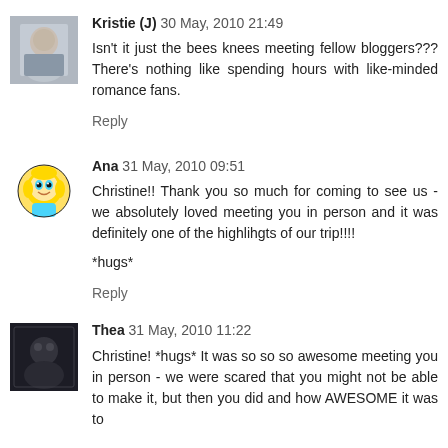[Figure (photo): Avatar photo of Kristie (J) - appears to be a woman with light hair]
Kristie (J) 30 May, 2010 21:49
Isn't it just the bees knees meeting fellow bloggers??? There's nothing like spending hours with like-minded romance fans.
Reply
[Figure (illustration): Avatar illustration of Ana - cartoon Bubbles from Powerpuff Girls character]
Ana 31 May, 2010 09:51
Christine!! Thank you so much for coming to see us - we absolutely loved meeting you in person and it was definitely one of the highlihgts of our trip!!!!
*hugs*
Reply
[Figure (photo): Avatar photo of Thea - appears to be a dark/artistic photo]
Thea 31 May, 2010 11:22
Christine! *hugs* It was so so so awesome meeting you in person - we were scared that you might not be able to make it, but then you did and how AWESOME it was to